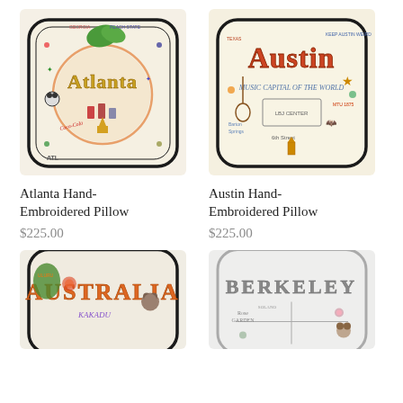[Figure (photo): Atlanta Hand-Embroidered Pillow - decorative pillow with colorful embroidery featuring Atlanta landmarks including peach motif, Coca-Cola, and city icons]
[Figure (photo): Austin Hand-Embroidered Pillow - decorative pillow with colorful embroidery featuring Austin text, music capital references, and Texas icons]
Atlanta Hand-Embroidered Pillow
$225.00
Austin Hand-Embroidered Pillow
$225.00
[Figure (photo): Australia Hand-Embroidered Pillow - decorative pillow with colorful embroidery featuring Australian wildlife and landmarks including kangaroo and koala]
[Figure (photo): Berkeley Hand-Embroidered Pillow - decorative pillow with light embroidery featuring Berkeley text and UC Berkeley campus references]